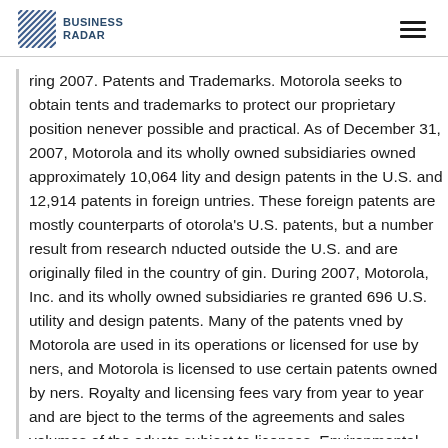BUSINESS RADAR
ring 2007. Patents and Trademarks. Motorola seeks to obtain tents and trademarks to protect our proprietary position nenever possible and practical. As of December 31, 2007, Motorola and its wholly owned subsidiaries owned approximately 10,064 lity and design patents in the U.S. and 12,914 patents in foreign untries. These foreign patents are mostly counterparts of otorola's U.S. patents, but a number result from research nducted outside the U.S. and are originally filed in the country of gin. During 2007, Motorola, Inc. and its wholly owned subsidiaries re granted 696 U.S. utility and design patents. Many of the patents vned by Motorola are used in its operations or licensed for use by ners, and Motorola is licensed to use certain patents owned by ners. Royalty and licensing fees vary from year to year and are bject to the terms of the agreements and sales volumes of the oducts subject to licenses. Environmental Quality. Compliance with deral, state and local laws regulating the discharge of materials into